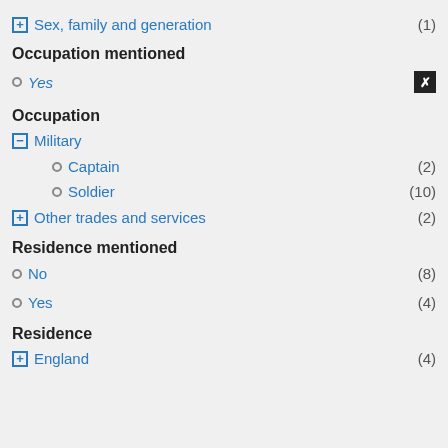⊞ Sex, family and generation (1)
Occupation mentioned
○ Yes [selected]
Occupation
⊟ Military
○ Captain (2)
○ Soldier (10)
⊞ Other trades and services (2)
Residence mentioned
○ No (8)
○ Yes (4)
Residence
⊞ England (4)